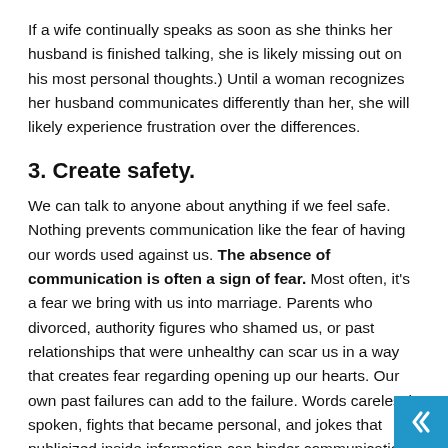If a wife continually speaks as soon as she thinks her husband is finished talking, she is likely missing out on his most personal thoughts.) Until a woman recognizes her husband communicates differently than her, she will likely experience frustration over the differences.
3. Create safety.
We can talk to anyone about anything if we feel safe. Nothing prevents communication like the fear of having our words used against us. The absence of communication is often a sign of fear. Most often, it's a fear we bring with us into marriage. Parents who divorced, authority figures who shamed us, or past relationships that were unhealthy can scar us in a way that creates fear regarding opening up our hearts. Our own past failures can add to the failure. Words carelessly spoken, fights that became personal, and jokes that publicized inside information can hinder communication for years. If you want